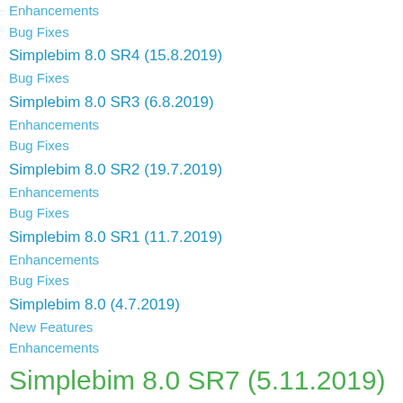Enhancements
Bug Fixes
Simplebim 8.0 SR4 (15.8.2019)
Bug Fixes
Simplebim 8.0 SR3 (6.8.2019)
Enhancements
Bug Fixes
Simplebim 8.0 SR2 (19.7.2019)
Enhancements
Bug Fixes
Simplebim 8.0 SR1 (11.7.2019)
Enhancements
Bug Fixes
Simplebim 8.0 (4.7.2019)
New Features
Enhancements
Simplebim 8.0 SR7 (5.11.2019)